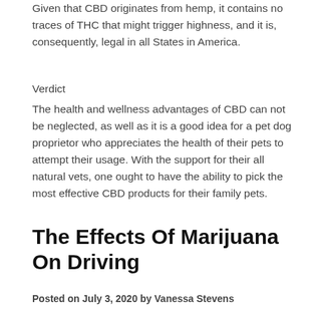Given that CBD originates from hemp, it contains no traces of THC that might trigger highness, and it is, consequently, legal in all States in America.
Verdict
The health and wellness advantages of CBD can not be neglected, as well as it is a good idea for a pet dog proprietor who appreciates the health of their pets to attempt their usage. With the support for their all natural vets, one ought to have the ability to pick the most effective CBD products for their family pets.
The Effects Of Marijuana On Driving
Posted on July 3, 2020 by Vanessa Stevens